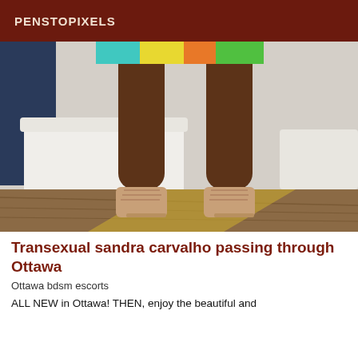PENSTOPIXELS
[Figure (photo): Cropped photo showing the legs of a person wearing a colorful skirt and lace-up heeled sandals, posing in a room with a white sofa and wooden floor.]
Transexual sandra carvalho passing through Ottawa
Ottawa bdsm escorts
ALL NEW in Ottawa! THEN, enjoy the beautiful and